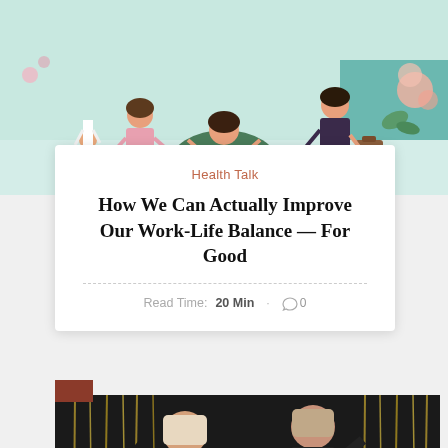[Figure (illustration): Colorful flat illustration showing diverse people in work-life balance scenes: a parent with child, a person meditating on a bean bag with laptop, a professional with briefcase, decorative flowers]
Health Talk
How We Can Actually Improve Our Work-Life Balance — For Good
Read Time:  20 Min  ·  💬 0
[Figure (photo): Photo of women in black outfits at a party with gold tinsel curtain backdrop; a blonde woman is in the foreground with a star wand]